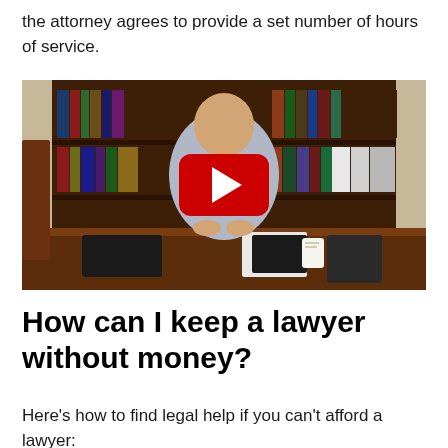the attorney agrees to provide a set number of hours of service.
[Figure (screenshot): YouTube video thumbnail showing a bald man in a light blue shirt sitting at a dark wooden desk in front of a large bookshelf. A red YouTube play button overlay is centered on the image.]
How can I keep a lawyer without money?
Here's how to find legal help if you can't afford a lawyer: